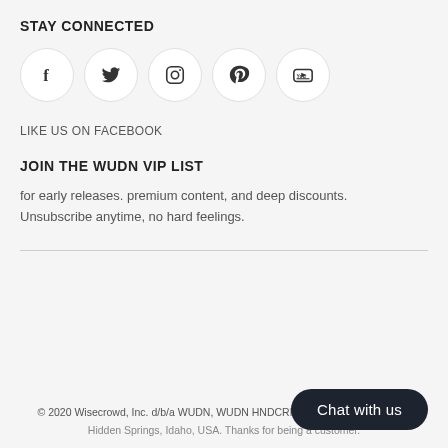STAY CONNECTED
[Figure (illustration): Five social media icons in circular outlines: Facebook (f), Twitter (bird), Instagram (camera), Pinterest (P), YouTube (play button)]
LIKE US ON FACEBOOK
JOIN THE WUDN VIP LIST
for early releases. premium content, and deep discounts. Unsubscribe anytime, no hard feelings.
© 2020 Wisecrowd, Inc. d/b/a WUDN, WUDN HNDCRFTD. All Rights Reserved. Hidden Springs, Idaho, USA. Thanks for being a customer.